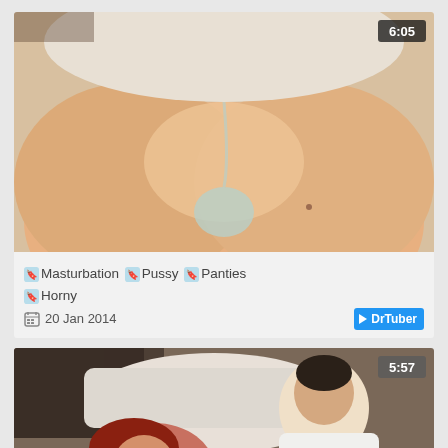[Figure (photo): Video thumbnail showing close-up with duration overlay 6:05]
🔖 Masturbation 🔖 Pussy 🔖 Panties 🔖 Horny
20 Jan 2014  ▶ DrTuber
[Figure (photo): Video thumbnail showing couple on bed with duration overlay 5:57]